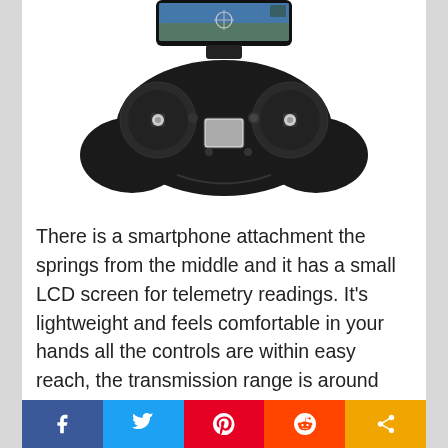[Figure (photo): A drone remote controller / transmitter shown from the front. It has dual joysticks, a center LCD screen, various buttons, and a spring-loaded smartphone holder at the top with a phone showing an aerial FPV camera feed.]
There is a smartphone attachment the springs from the middle and it has a small LCD screen for telemetry readings. It's lightweight and feels comfortable in your hands all the controls are within easy reach, the transmission range is around 200m if you will be utilising the FPV features and 300m
Social share bar: Facebook, Twitter, Pinterest, Reddit, Share